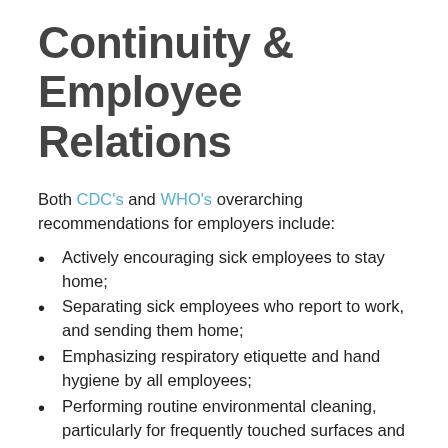Continuity & Employee Relations
Both CDC's and WHO's overarching recommendations for employers include:
Actively encouraging sick employees to stay home;
Separating sick employees who report to work, and sending them home;
Emphasizing respiratory etiquette and hand hygiene by all employees;
Performing routine environmental cleaning, particularly for frequently touched surfaces and objects; and
Advising employees before traveling to consult national travel advice before business...